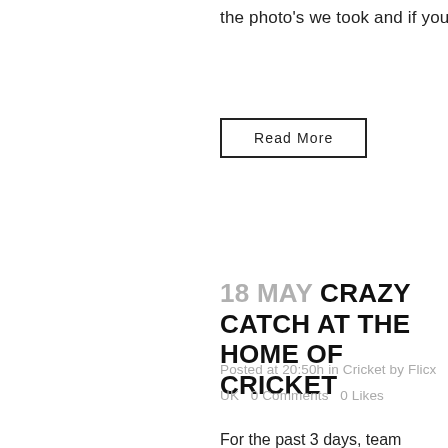the photo's we took and if you...
Read More
18 MAY CRAZY CATCH AT THE HOME OF CRICKET
Posted at 20:50h in Cricket by Flicx UK   0 Comments   0 Likes
For the past 3 days, team Crazy Catch have been at the home of Cricket at Lords for the first test between England and New Zealand. The